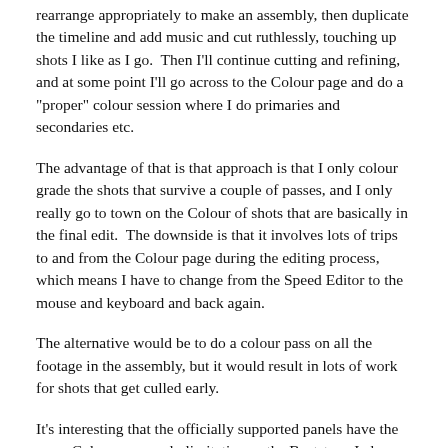rearrange appropriately to make an assembly, then duplicate the timeline and add music and cut ruthlessly, touching up shots I like as I go.  Then I'll continue cutting and refining, and at some point I'll go across to the Colour page and do a "proper" colour session where I do primaries and secondaries etc.
The advantage of that is that approach is that I only colour grade the shots that survive a couple of passes, and I only really go to town on the Colour of shots that are basically in the final edit.  The downside is that it involves lots of trips to and from the Colour page during the editing process, which means I have to change from the Speed Editor to the mouse and keyboard and back again.
The alternative would be to do a colour pass on all the footage in the assembly, but it would result in lots of work for shots that get culled early.
It's interesting that the officially supported panels have the same Colour-page-only limitation as the Beatstep.  I also noticed that the Printer Lights don't work in the Cut or Edit pages either.  Hmmm.